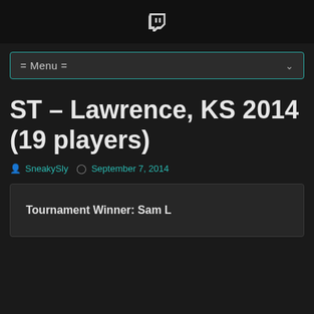Twitch icon header bar
= Menu =
ST – Lawrence, KS 2014 (19 players)
SneakySly  September 7, 2014
Tournament Winner: Sam L